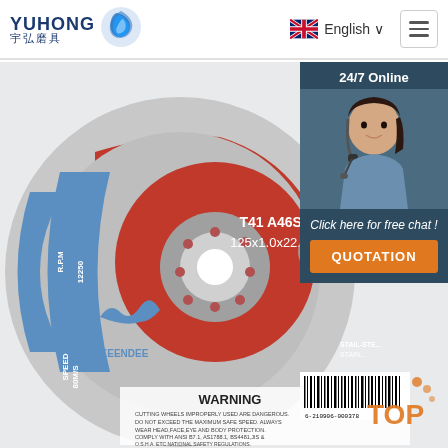[Figure (logo): YUHONG logo with Chinese characters 宇弘磨具 and blue wave/flame icon]
English ∨
[Figure (photo): 5-inch cutting/grinding disc - KEENDEE brand, T41 A46SBF, 125x1.0x22.2mm, R.P.M 12250, SPEED 80M/S, with WARNING text and barcode 6-210906-000378]
24/7 Online
[Figure (photo): Customer service agent photo - woman with headset smiling]
Click here for free chat !
QUOTATION
TOP